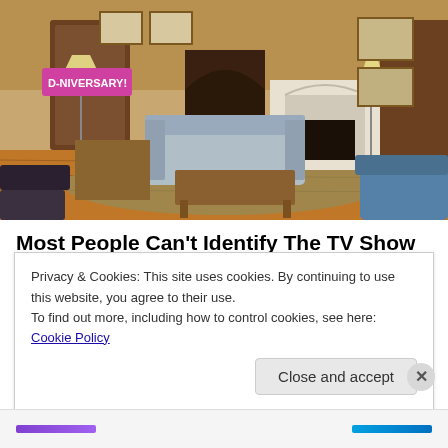[Figure (photo): Interior of a TV show set showing a living room with plaid sofa, wooden coffee table, fireplace, hardwood floors, area rug, and various framed pictures on walls. A banner reading 'D-NIVERSARY!' is visible in the upper left.]
Most People Can't Identify The TV Show Based On The Empty Set. Can You?
WarnedSneed
Privacy & Cookies: This site uses cookies. By continuing to use this website, you agree to their use.
To find out more, including how to control cookies, see here: Cookie Policy
Close and accept